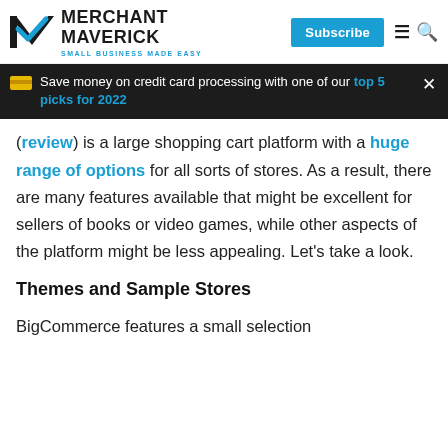MERCHANT MAVERICK | SMALL BUSINESS MADE EASY | Subscribe
Save money on credit card processing with one of our top 5 picks for 2022
review) is a large shopping cart platform with a huge range of options for all sorts of stores. As a result, there are many features available that might be excellent for sellers of books or video games, while other aspects of the platform might be less appealing. Let's take a look.
Themes and Sample Stores
BigCommerce features a small selection